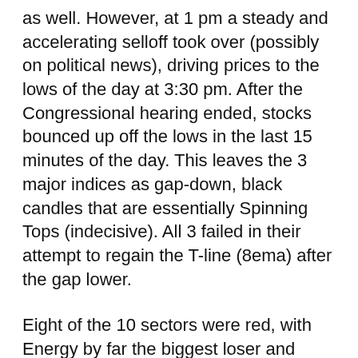as well.  However, at 1 pm a steady and accelerating selloff took over (possibly on political news), driving prices to the lows of the day at 3:30 pm.  After the Congressional hearing ended, stocks bounced up off the lows in the last 15 minutes of the day.  This leaves the 3 major indices as gap-down, black candles that are essentially Spinning Tops (indecisive).  All 3 failed in their attempt to regain the T-line (8ema) after the gap lower.
Eight of the 10 sectors were red, with Energy by far the biggest loser and Communication Services faring the best, although that is only up 0.28%. Overall, it seems the market has...